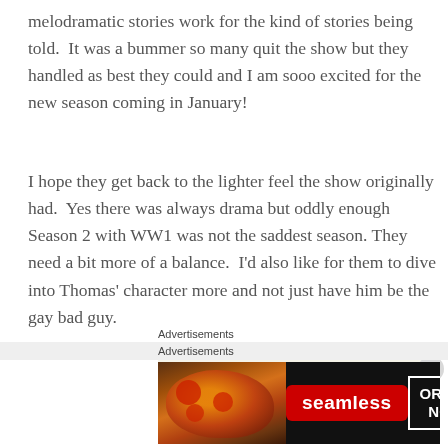melodramatic stories work for the kind of stories being told.  It was a bummer so many quit the show but they handled as best they could and I am sooo excited for the new season coming in January!
I hope they get back to the lighter feel the show originally had.  Yes there was always drama but oddly enough Season 2 with WW1 was not the saddest season. They need a bit more of a balance.  I'd also like for them to dive into Thomas' character more and not just have him be the gay bad guy.
Advertisements
[Figure (other): Light beige advertisement placeholder box]
Advertisements
[Figure (other): Seamless food delivery advertisement banner with pizza image on left, seamless red logo in center, and ORDER NOW button on right, dark background]